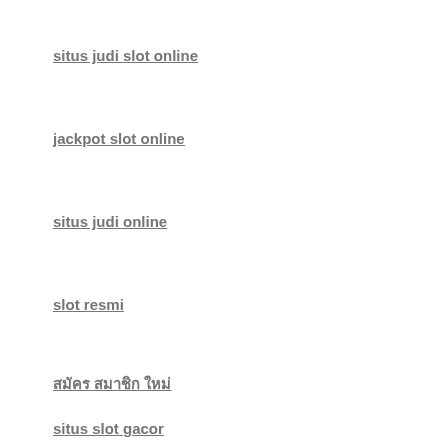situs judi slot online
jackpot slot online
situs judi online
slot resmi
สมัคร สมาชิก ใหม่
situs slot gacor